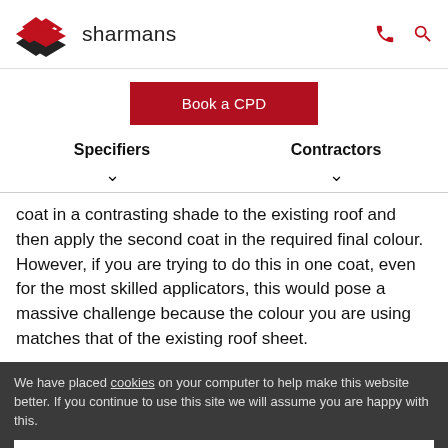sharmans
Book a CPD
Specifiers
Contractors
coat in a contrasting shade to the existing roof and then apply the second coat in the required final colour. However, if you are trying to do this in one coat, even for the most skilled applicators, this would pose a massive challenge because the colour you are using matches that of the existing roof sheet.
We have placed cookies on your computer to help make this website better. If you continue to use this site we will assume you are happy with this.
Don't show this message again.